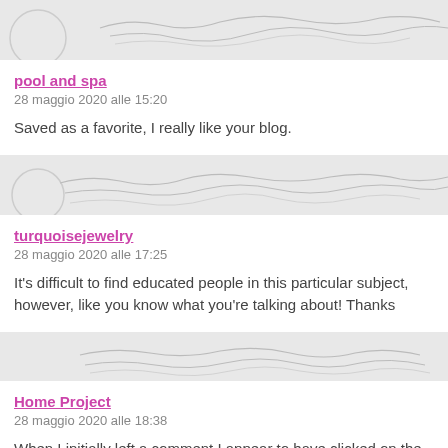[Figure (illustration): Decorative handwritten/script style avatar strip at top]
pool and spa
28 maggio 2020 alle 15:20
Saved as a favorite, I really like your blog.
[Figure (illustration): Decorative handwritten/script style avatar strip]
turquoisejewelry
28 maggio 2020 alle 17:25
It's difficult to find educated people in this particular subject, however, like you know what you're talking about! Thanks
[Figure (illustration): Decorative handwritten/script style avatar strip]
Home Project
28 maggio 2020 alle 18:38
When I initially left a comment I appear to have clicked on the -Notify new comments are added- checkbox and now every time a comment receive 4 emails with the same comment. There has to be a means y from that service? Thank you.